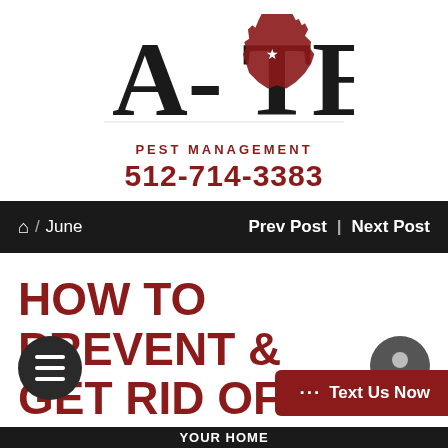[Figure (logo): A-TEX Pest Management logo with Texas state silhouette in dark red, company name and phone number]
🏠 / June    Prev Post | Next Post
HOW TO PREVENT & GET RID OF SMOKY BROWN COCKROACHES IN YOUR HOME
[Figure (other): Hamburger menu button (dark circle with three white lines) and a chat person icon]
[Figure (other): Text Us Now button in dark red]